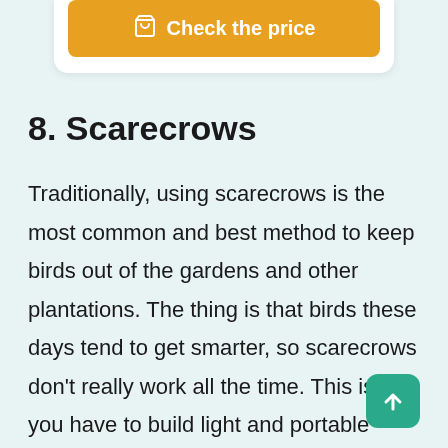[Figure (screenshot): Orange 'Check the price' button with a cart icon on a white card background, partially visible at the top of the page]
8. Scarecrows
Traditionally, using scarecrows is the most common and best method to keep birds out of the gardens and other plantations. The thing is that birds these days tend to get smarter, so scarecrows don't really work all the time. This is why you have to build light and portable types of scarecrows for your gardens. A scarecrow works at first, but birds